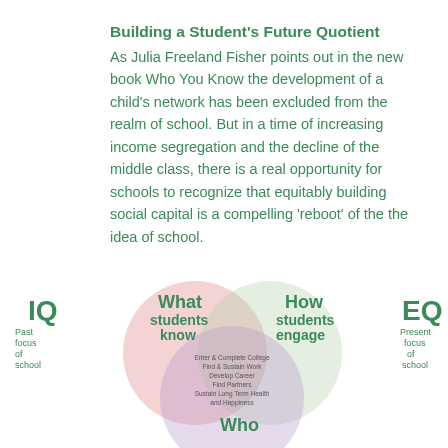Building a Student's Future Quotient
As Julia Freeland Fisher points out in the new book Who You Know the development of a child’s network has been excluded from the realm of school. But in a time of increasing income segregation and the decline of the middle class, there is a real opportunity for schools to recognize that equitably building social capital is a compelling ‘reboot’ of the the idea of school.
[Figure (infographic): Venn diagram showing three overlapping circles labeled 'What students know', 'How students engage', and 'Who' (partially visible). The overlapping center region lists: Enter & Complete College, Find & Sustain Work, Develop Career, Find Partners, Sustain Long Term Health and Happiness. On the left is 'IQ - Past focus of school' and on the right is 'EQ - Present focus of school'.]